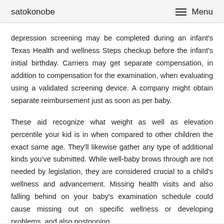satokonobe    Menu
depression screening may be completed during an infant's Texas Health and wellness Steps checkup before the infant's initial birthday. Carriers may get separate compensation, in addition to compensation for the examination, when evaluating using a validated screening device. A company might obtain separate reimbursement just as soon as per baby.
These aid recognize what weight as well as elevation percentile your kid is in when compared to other children the exact same age. They'll likewise gather any type of additional kinds you've submitted. While well-baby brows through are not needed by legislation, they are considered crucial to a child's wellness and advancement. Missing health visits and also falling behind on your baby's examination schedule could cause missing out on specific wellness or developing problems, and also postponing